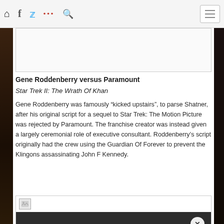Navigation bar with home, facebook, twitter, dots, search icons and menu button
[Figure (photo): Top image placeholder box (partially visible, cropped)]
Gene Roddenberry versus Paramount
Star Trek II: The Wrath Of Khan
Gene Roddenberry was famously “kicked upstairs”, to parse Shatner, after his original script for a sequel to Star Trek: The Motion Picture was rejected by Paramount. The franchise creator was instead given a largely ceremonial role of executive consultant. Roddenberry’s script originally had the crew using the Guardian Of Forever to prevent the Klingons assassinating John F Kennedy.
[Figure (photo): Bottom image box with small image icon at top left and dark panel with close (x) and fire/flame icon buttons on right side]